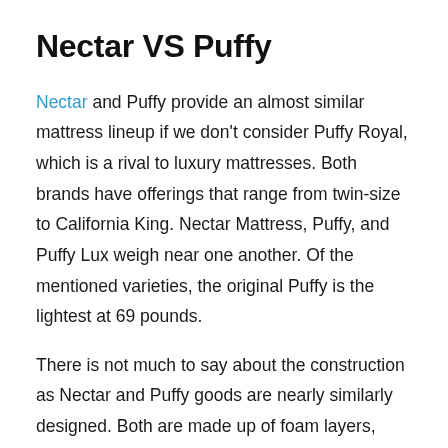Nectar VS Puffy
Nectar and Puffy provide an almost similar mattress lineup if we don't consider Puffy Royal, which is a rival to luxury mattresses. Both brands have offerings that range from twin-size to California King. Nectar Mattress, Puffy, and Puffy Lux weigh near one another. Of the mentioned varieties, the original Puffy is the lightest at 69 pounds.
There is not much to say about the construction as Nectar and Puffy goods are nearly similarly designed. Both are made up of foam layers,